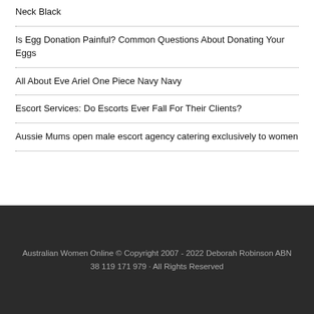Neck Black
Is Egg Donation Painful? Common Questions About Donating Your Eggs
All About Eve Ariel One Piece Navy Navy
Escort Services: Do Escorts Ever Fall For Their Clients?
Aussie Mums open male escort agency catering exclusively to women
Australian Women Online © Copyright 2007 - 2022 Deborah Robinson ABN 38 119 171 979 · All Rights Reserved